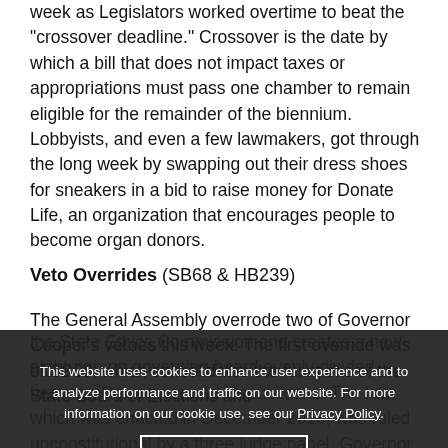week as Legislators worked overtime to beat the "crossover deadline." Crossover is the date by which a bill that does not impact taxes or appropriations must pass one chamber to remain eligible for the remainder of the biennium. Lobbyists, and even a few lawmakers, got through the long week by swapping out their dress shoes for sneakers in a bid to raise money for Donate Life, an organization that encourages people to become organ donors.
Veto Overrides (SB68 & HB239)
The General Assembly overrode two of Governor Cooper's vetoes this week. The first override was of SB68, which consolidates the functions of the State Board of Elections and the State Ethics Commission and creates a new eight-person governing board evenly divided between Democrats and Republicans. The law, which was enacted in December 2016, was ruled unconstitutional by a three judge panel. Governor Cooper has asked the Wake County Superior Court to put a hold on the new law. Legislators also overrode Cooper's veto of HB239,
This website uses cookies to enhance user experience and to analyze performance and traffic on our website. For more information on our cookie use, see our Privacy Policy.